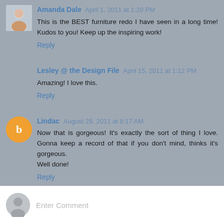Amanda Dale April 1, 2011 at 1:20 PM
This is the BEST furniture redo I have seen in a long time! Kudos to you! Keep up the inspiring work!
Reply
Lesley @ the Design File April 15, 2011 at 1:12 PM
Amazing! I love this.
Reply
Lindac August 29, 2011 at 8:17 AM
Now that is gorgeous! It's exactly the sort of thing I love. Gonna keep a record of that if you don't mind, thinks it's gorgeous.
Well done!
Reply
Enter Comment